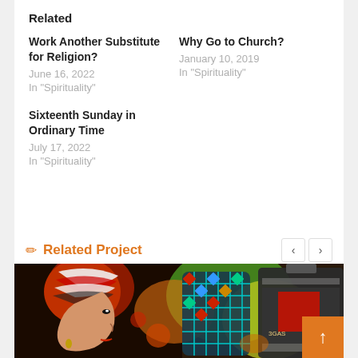Related
Work Another Substitute for Religion?
June 16, 2022
In "Spirituality"
Why Go to Church?
January 10, 2019
In "Spirituality"
Sixteenth Sunday in Ordinary Time
July 17, 2022
In "Spirituality"
Related Project
[Figure (illustration): Colorful painting showing a woman in profile wearing a head wrap with red hair, alongside decorative lanterns with diamond mosaic patterns on a vivid multicolored background.]